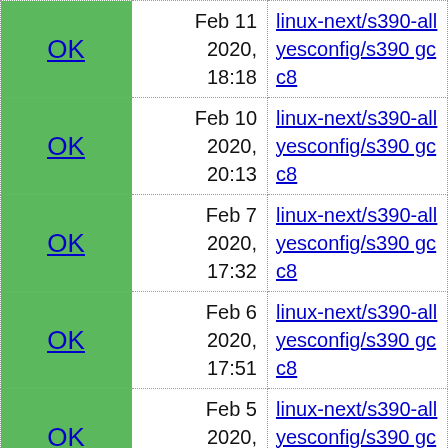| Status | Date | Build |
| --- | --- | --- |
| OK | Feb 11 2020, 18:18 | linux-next/s390-allyesconfig/s390 gcc8 |
| OK | Feb 10 2020, 20:13 | linux-next/s390-allyesconfig/s390 gcc8 |
| OK | Feb 7 2020, 17:32 | linux-next/s390-allyesconfig/s390 gcc8 |
| OK | Feb 6 2020, 17:51 | linux-next/s390-allyesconfig/s390 gcc8 |
| OK | Feb 5 2020, 15:08 | linux-next/s390-allyesconfig/s390 gcc8 |
| OK | Feb 4 2020, 19:37 | linux-next/s390-allyesconfig/s390 gcc8 |
| OK | Feb 3 ... | linux-next/s390-... |